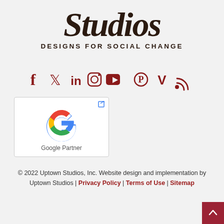[Figure (logo): Uptown Studios script logo with person figure and 'DESIGNS FOR SOCIAL CHANGE' tagline]
[Figure (infographic): Row of social media icons: Facebook, Twitter, LinkedIn, Instagram, YouTube, Pinterest, Vimeo, RSS — all in dark red/crimson color]
[Figure (logo): Google Partner badge with Google G logo]
© 2022 Uptown Studios, Inc. Website design and implementation by Uptown Studios | Privacy Policy | Terms of Use | Sitemap